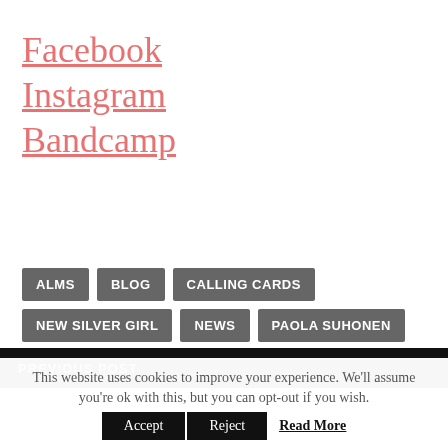Facebook
Instagram
Bandcamp
ALMS
BLOG
CALLING CARDS
NEW SILVER GIRL
NEWS
PAOLA SUHONEN
SOLITI
VIDEOS
PREVIOUS POST
This website uses cookies to improve your experience. We'll assume you're ok with this, but you can opt-out if you wish.
Accept  Reject  Read More